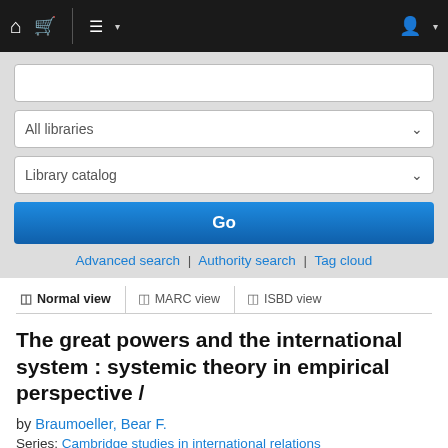Navigation bar with home, cart, menu, and user icons
[Figure (screenshot): Library catalog search interface with text input, All libraries dropdown, Library catalog dropdown, and Go button]
Advanced search | Authority search | Tag cloud
Normal view | MARC view | ISBD view
The great powers and the international system : systemic theory in empirical perspective /
by Braumoeller, Bear F.
Series: Cambridge studies in international relations